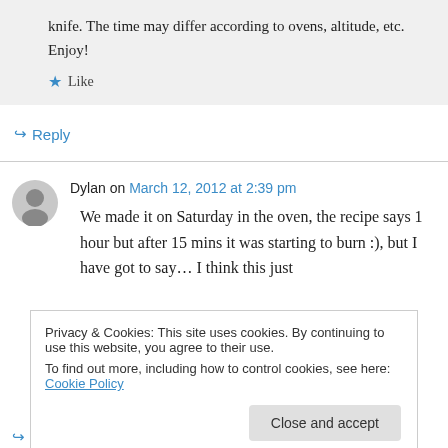knife. The time may differ according to ovens, altitude, etc. Enjoy!
★ Like
↳ Reply
Dylan on March 12, 2012 at 2:39 pm
We made it on Saturday in the oven, the recipe says 1 hour but after 15 mins it was starting to burn :), but I have got to say… I think this just
Privacy & Cookies: This site uses cookies. By continuing to use this website, you agree to their use.
To find out more, including how to control cookies, see here: Cookie Policy
Close and accept